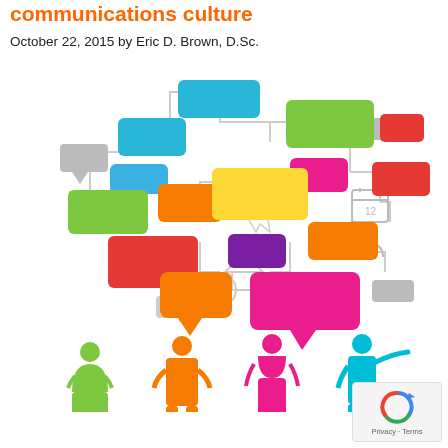communications culture
October 22, 2015 by Eric D. Brown, D.Sc.
[Figure (illustration): Colorful infographic showing interconnected speech bubbles and flowchart boxes in various colors (blue, green, orange, red, yellow, pink, purple, gray) connected by lines, with four silhouetted business people figures at the bottom in green, orange, pink, and cyan colors.]
Privacy · Terms